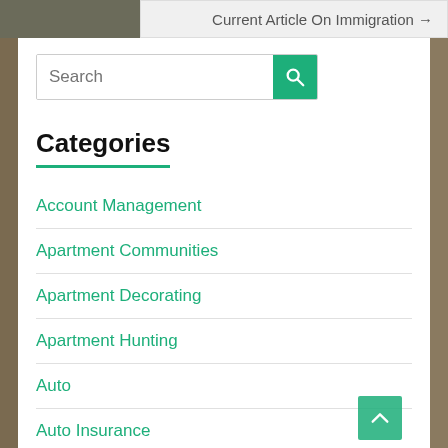Current Article On Immigration →
[Figure (other): Search bar with green search button]
Categories
Account Management
Apartment Communities
Apartment Decorating
Apartment Hunting
Auto
Auto Insurance
Auto Loans
Bank Accounts